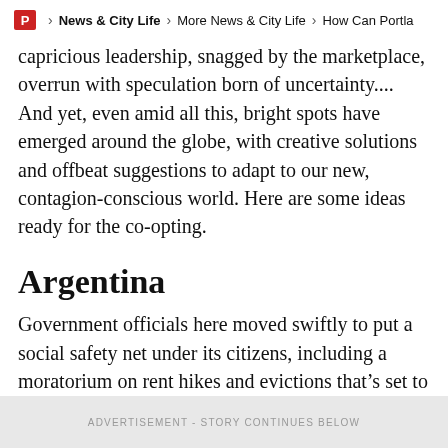P > News & City Life > More News & City Life > How Can Portla
capricious leadership, snagged by the marketplace, overrun with speculation born of uncertainty.... And yet, even amid all this, bright spots have emerged around the globe, with creative solutions and offbeat suggestions to adapt to our new, contagion-conscious world. Here are some ideas ready for the co-opting.
Argentina
Government officials here moved swiftly to put a social safety net under its citizens, including a moratorium on rent hikes and evictions that’s set to last through September, at least.
ADVERTISEMENT - STORY CONTINUES BELOW